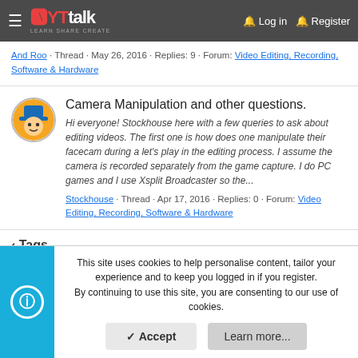YTtalk — Learn Share Create | Login | Register
And Roo · Thread · May 26, 2016 · Replies: 9 · Forum: Video Editing, Recording, Software & Hardware
Camera Manipulation and other questions.
Hi everyone! Stockhouse here with a few queries to ask about editing videos. The first one is how does one manipulate their facecam during a let's play in the editing process. I assume the camera is recorded separately from the game capture. I do PC games and I use Xsplit Broadcaster so the...
Stockhouse · Thread · Apr 17, 2016 · Replies: 0 · Forum: Video Editing, Recording, Software & Hardware
Tags
This site uses cookies to help personalise content, tailor your experience and to keep you logged in if you register. By continuing to use this site, you are consenting to our use of cookies.